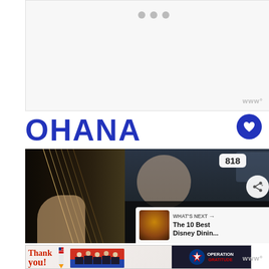[Figure (screenshot): Top ad/banner area with light gray background and three navigation dots at top center]
www°
OHANA
[Figure (photo): Video thumbnail showing close-up of guitar strings and a man in dark shirt in restaurant/venue setting. Overlay shows count 818 and share button. 'WHAT'S NEXT' panel shows 'The 10 Best Disney Dinin...']
[Figure (screenshot): Bottom advertisement banner: left side shows 'Thank you!' cursive text with American flag pencil illustration and group of people in front of fire truck; right side shows Operation Gratitude logo on dark background]
www°